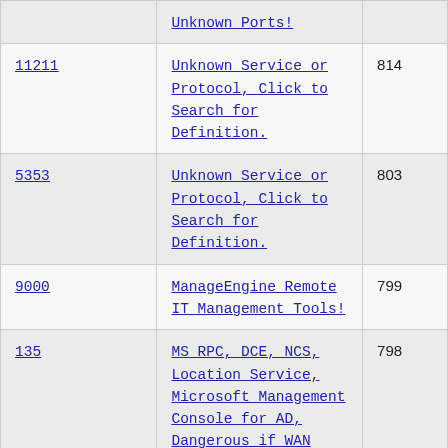| Port | Description | Count |
| --- | --- | --- |
|  | Unknown Ports! |  |
| 11211 | Unknown Service or Protocol, Click to Search for Definition. | 814 |
| 5353 | Unknown Service or Protocol, Click to Search for Definition. | 803 |
| 9000 | ManageEngine Remote IT Management Tools! | 799 |
| 135 | MS RPC, DCE, NCS, Location Service, Microsoft Management Console for AD, Dangerous if WAN Facing! | 798 |
| 3390 | MS RDP, Terminal Server brute forcer | 798 |
| 2077 | Unknown Service or Protocol, Click to | 790 |